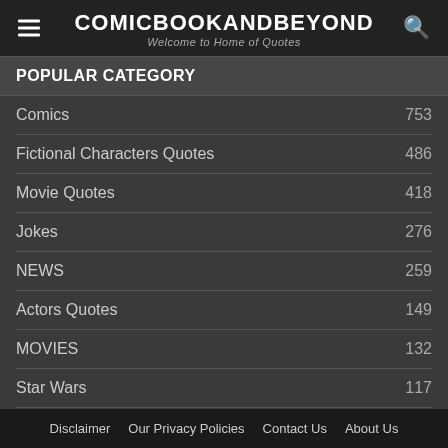COMICBOOKANDBEYOND — Welcome to Home of Quotes
POPULAR CATEGORY
Comics 753
Fictional Characters Quotes 486
Movie Quotes 418
Jokes 276
NEWS 259
Actors Quotes 149
MOVIES 132
Star Wars 117
Writers Quotes 58
Disclaimer   Our Privacy Policies   Contact Us   About Us